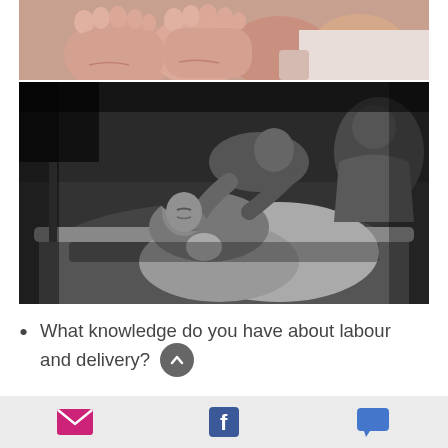[Figure (photo): Close-up photo of newborn baby feet/toes in pink/warm tones]
[Figure (photo): Black and white photo of a woman in a bathtub during labor, being supported by another person, holding a newborn baby]
What knowledge do you have about labour and delivery?
Firstly, I am a Mum of 3 children so I
Email share | Facebook share | Comment